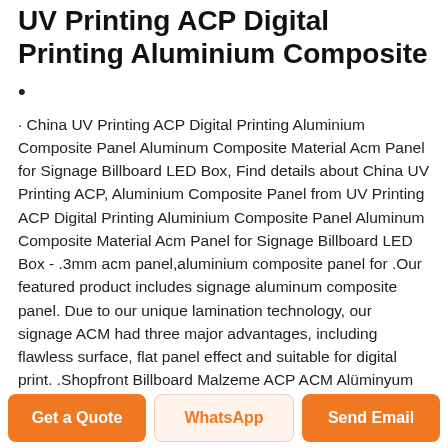UV Printing ACP Digital Printing Aluminium Composite
•
· China UV Printing ACP Digital Printing Aluminium Composite Panel Aluminum Composite Material Acm Panel for Signage Billboard LED Box, Find details about China UV Printing ACP, Aluminium Composite Panel from UV Printing ACP Digital Printing Aluminium Composite Panel Aluminum Composite Material Acm Panel for Signage Billboard LED Box - .3mm acm panel,aluminium composite panel for .Our featured product includes signage aluminum composite panel. Due to our unique lamination technology, our signage ACM had three major advantages, including flawless surface, flat panel effect and suitable for digital print. .Shopfront Billboard Malzeme ACP ACM Alüminyum ...yüksek kalite Shopfront Billboard Malzeme ACP ACM Alüminyum
Get a Quote | WhatsApp | Send Email